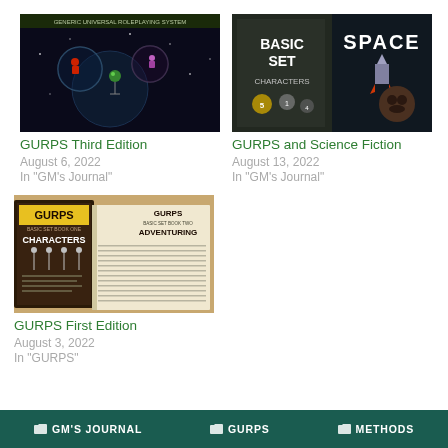[Figure (photo): GURPS Third Edition book cover – Generic Universal RolePlaying System, dark space background with characters in bubbles]
GURPS Third Edition
August 6, 2022
In "GM's Journal"
[Figure (photo): GURPS Basic Set Characters and GURPS Space book covers]
GURPS and Science Fiction
August 13, 2022
In "GM's Journal"
[Figure (photo): GURPS First Edition books – Basic Set Book One Characters and Basic Set Book Two Adventuring]
GURPS First Edition
August 3, 2022
In "GURPS"
GM'S JOURNAL   GURPS   METHODS